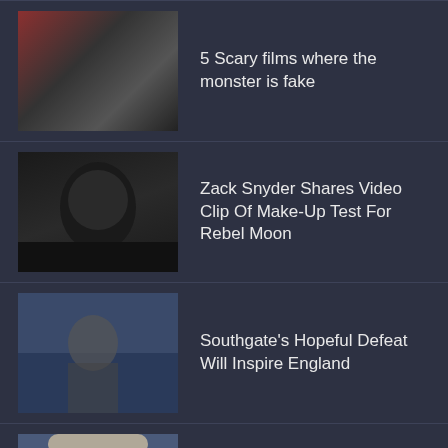5 Scary films where the monster is fake
Zack Snyder Shares Video Clip Of Make-Up Test For Rebel Moon
Southgate's Hopeful Defeat Will Inspire England
Smith Tweaks Set Up for US Open Tilt
Vale: Yellow Pages Actor Tommy Dysart Dies